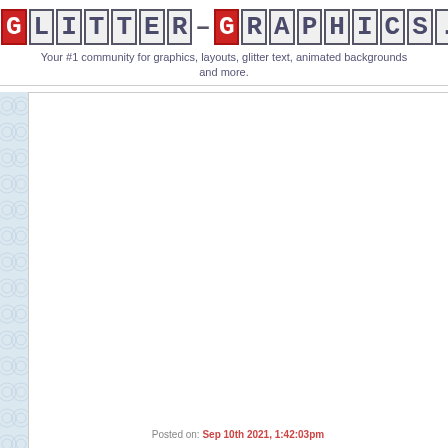GLITTER-GRAPHICS.COM — Your #1 community for graphics, layouts, glitter text, animated backgrounds and more.
[Figure (other): Left side decorative border strip with light blue geometric/circular pattern on a light gray-blue background]
Posted on: Sep 10th 2021, 1:42:03pm